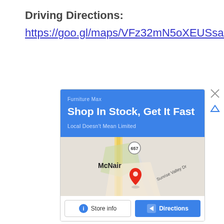Driving Directions:
https://goo.gl/maps/VFz32mN5oXEUSsa77
[Figure (screenshot): Google Maps advertisement for Furniture Max showing a blue banner with 'Shop In Stock, Get It Fast' headline, a map view of McNair area with a location pin near route 657 / Sunrise Valley Dr, and two buttons: Store info and Directions.]